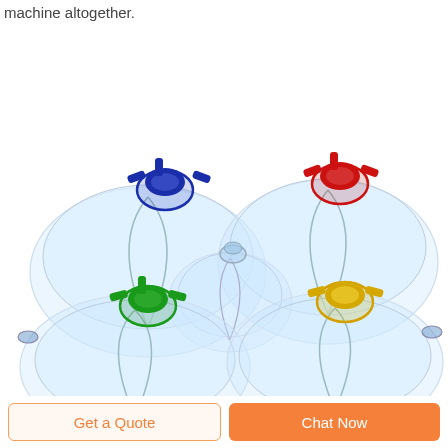machine altogether.
Chat Online
[Figure (photo): Five transparent anesthesia face masks of various sizes with colored connectors: blue (top-left), red (top-right), clear/no color (center small), green (bottom-left), and yellow (bottom-right), displayed on a white background.]
Get a Quote
Chat Now